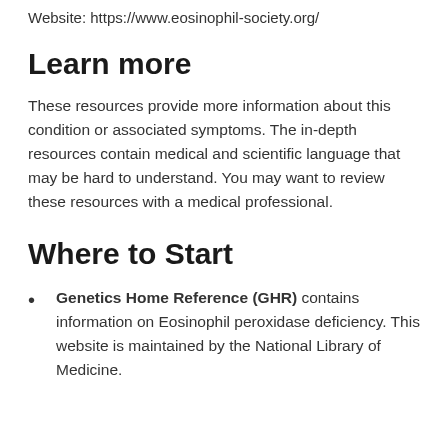Website: https://www.eosinophil-society.org/
Learn more
These resources provide more information about this condition or associated symptoms. The in-depth resources contain medical and scientific language that may be hard to understand. You may want to review these resources with a medical professional.
Where to Start
Genetics Home Reference (GHR) contains information on Eosinophil peroxidase deficiency. This website is maintained by the National Library of Medicine.